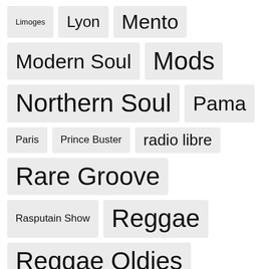Limoges
Lyon
Mento
Modern Soul
Mods
Northern Soul
Pama
Paris
Prince Buster
radio libre
Rare Groove
Rasputain Show
Reggae
Reggae Oldies
Reggae UK
Rocksteady
Rub a Dub
Rudies All Around
rumba